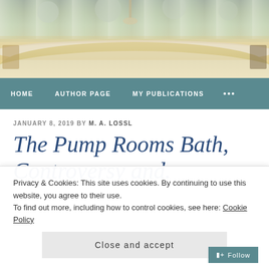[Figure (photo): Hero banner image showing a decorated interior with Christmas/floral decorations, chandeliers, and arched ceiling with warm golden tones]
HOME   AUTHOR PAGE   MY PUBLICATIONS   ...
JANUARY 8, 2019 BY M. A. LOSSL
The Pump Rooms Bath, Controversy and.
Privacy & Cookies: This site uses cookies. By continuing to use this website, you agree to their use.
To find out more, including how to control cookies, see here: Cookie Policy
Close and accept